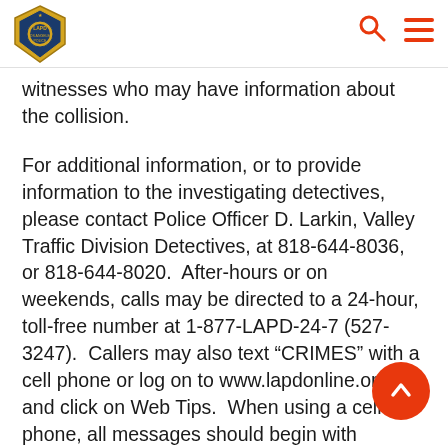LAPD
witnesses who may have information about the collision.
For additional information, or to provide information to the investigating detectives, please contact Police Officer D. Larkin, Valley Traffic Division Detectives, at 818-644-8036, or 818-644-8020.  After-hours or on weekends, calls may be directed to a 24-hour, toll-free number at 1-877-LAPD-24-7 (527-3247).  Callers may also text “CRIMES” with a cell phone or log on to www.lapdonline.org and click on Web Tips.  When using a cell phone, all messages should begin with “LAPD.”  All calls and contacts are anonymous.